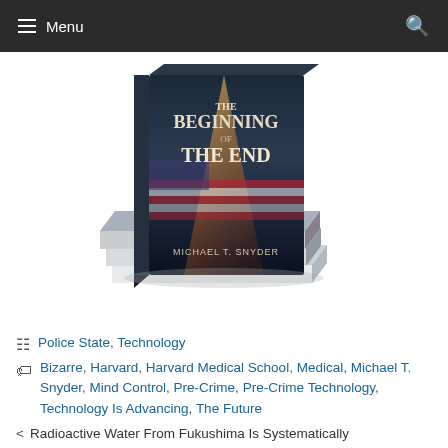Menu
[Figure (photo): Stack of books titled 'The Beginning of The End' by Michael T. Snyder, with an American flag and light ray imagery on the cover.]
Police State, Technology
Bizarre, Harvard, Harvard Medical School, Medical, Michael T. Snyder, Mind Control, Pre-Crime, Pre-Crime Technology, Technology Is Advancing, The Future
< Radioactive Water From Fukushima Is Systematically